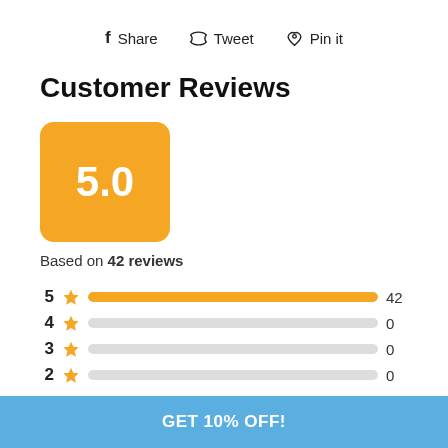f Share   Tweet   Pin it
Customer Reviews
5.0
Based on 42 reviews
[Figure (bar-chart): Star rating distribution]
GET 10% OFF!